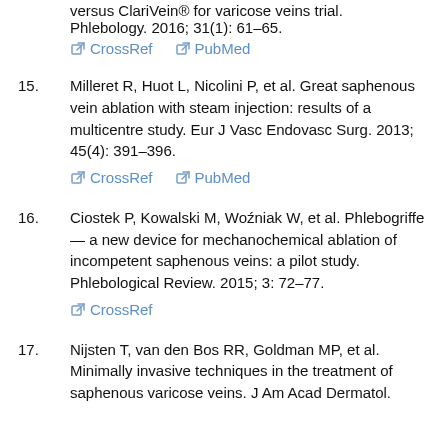versus ClariVein® for varicose veins trial. Phlebology. 2016; 31(1): 61–65.
CrossRef  PubMed
15. Milleret R, Huot L, Nicolini P, et al. Great saphenous vein ablation with steam injection: results of a multicentre study. Eur J Vasc Endovasc Surg. 2013; 45(4): 391–396.
CrossRef  PubMed
16. Ciostek P, Kowalski M, Woźniak W, et al. Phlebogriffe — a new device for mechanochemical ablation of incompetent saphenous veins: a pilot study. Phlebological Review. 2015; 3: 72–77.
CrossRef
17. Nijsten T, van den Bos RR, Goldman MP, et al. Minimally invasive techniques in the treatment of saphenous varicose veins. J Am Acad Dermatol.